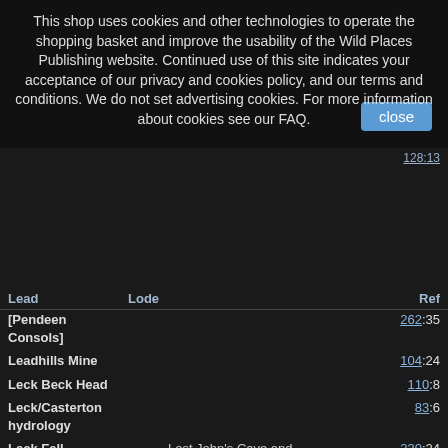This shop uses cookies and other technologies to operate the shopping basket and improve the usability of the Wild Places Publishing website. Continued use of this site indicates your acceptance of our privacy and cookies policy, and our terms and conditions. We do not set advertising cookies. For more information about cookies see our FAQ.
| Lead | Lode | Ref |
| --- | --- | --- |
| [Pendeen Consols] |  | 262:35 |
| Leadhills Mine |  | 104:24 |
| Leck Beck Head |  | 110:8 |
| Leck/Casterton hydrology |  | 83:6 |
| Leck Fell | Lost John's Cave and Notts II with Shep Pot | 230:24 |
| Legnagay Cave |  | 214:15 |
| Lemon Pot |  | 149:24 |
| Lesser Garth Cave |  | 84:14, 88:8, 139:15 |
|  | area map | 84:15 |
| Libya | Qasr Libiya Mega Dolines | 200:41 |
| Limley Pot | access route | 138:13, 141:11 |
| Lingsdale | Derbyshire Extension | 147:33, 148:9 |